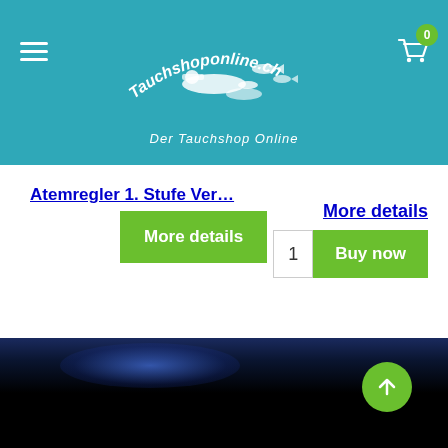[Figure (screenshot): Tauchshoponline.ch website header with logo featuring divers and fish, teal/blue background, hamburger menu on left, shopping cart with badge '0' on right, tagline 'Der Tauchshop Online']
Atemregler 1. Stufe Ver…
More details
More details
1  Buy now
[Figure (photo): Dark underwater scene with blue glow/light effect, fading to black at the bottom]